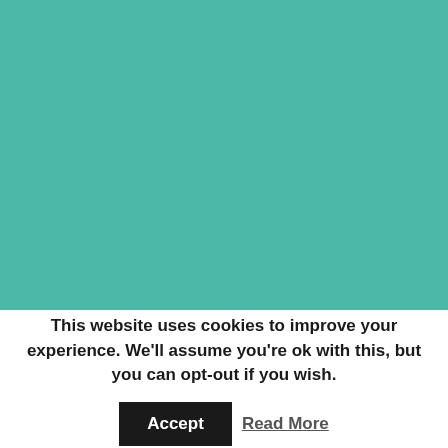[Figure (illustration): Large teal/turquoise solid color background block filling the upper portion of the page]
This website uses cookies to improve your experience. We'll assume you're ok with this, but you can opt-out if you wish.
Accept
Read More